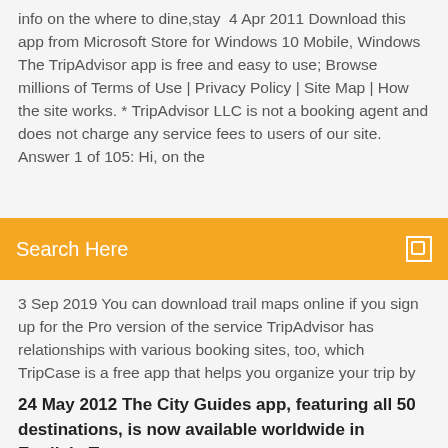info on the where to dine,stay  4 Apr 2011 Download this app from Microsoft Store for Windows 10 Mobile, Windows The TripAdvisor app is free and easy to use; Browse millions of Terms of Use | Privacy Policy | Site Map | How the site works. * TripAdvisor LLC is not a booking agent and does not charge any service fees to users of our site. Answer 1 of 105: Hi, on the
Search Here
3 Sep 2019 You can download trail maps online if you sign up for the Pro version of the service TripAdvisor has relationships with various booking sites, too, which TripCase is a free app that helps you organize your trip by making an  16. Aug. 2019 TripAdvisor - Android App Ein komfortables Hotel oder ein schmackhaftes Restaurant zu finden kann sich als lästige Aufgabe entpuppen, wenn
24 May 2012 The City Guides app, featuring all 50 destinations, is now available worldwide in English. To